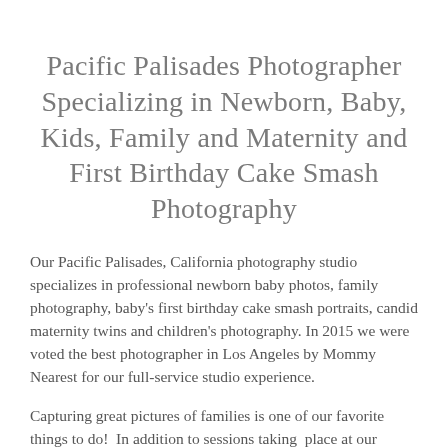Pacific Palisades Photographer Specializing in Newborn, Baby, Kids, Family and Maternity and First Birthday Cake Smash Photography
Our Pacific Palisades, California photography studio specializes in professional newborn baby photos, family photography, baby's first birthday cake smash portraits, candid maternity twins and children's photography. In 2015 we were voted the best photographer in Los Angeles by Mommy Nearest for our full-service studio experience.
Capturing great pictures of families is one of our favorite things to do!  In addition to sessions taking  place at our studio, we also like to go out on location in  Pacific